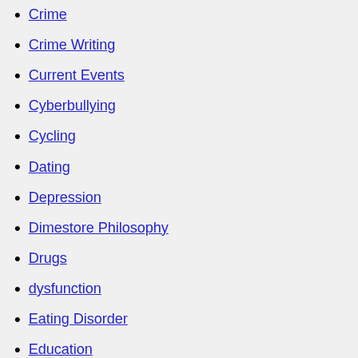Crime
Crime Writing
Current Events
Cyberbullying
Cycling
Dating
Depression
Dimestore Philosophy
Drugs
dysfunction
Eating Disorder
Education
Erotica
Ethics
Etiquette
existentialism
Facebook
fantasies
feminism
Fiction
fighting
fitness
Food & Recipes
Foreplay & Arousing
freedom